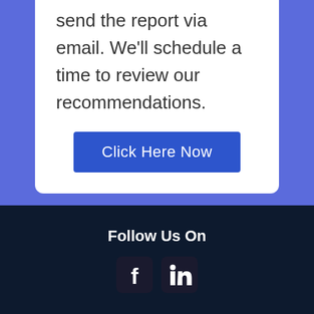send the report via email. We'll schedule a time to review our recommendations.
Click Here Now
Follow Us On
[Figure (illustration): Facebook and LinkedIn social media icons (white icons on dark rounded square backgrounds)]